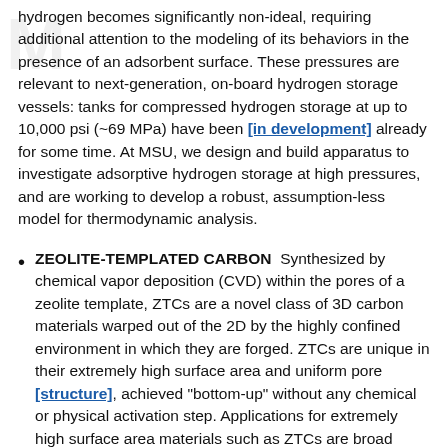hydrogen becomes significantly non-ideal, requiring additional attention to the modeling of its behaviors in the presence of an adsorbent surface. These pressures are relevant to next-generation, on-board hydrogen storage vessels: tanks for compressed hydrogen storage at up to 10,000 psi (~69 MPa) have been [in development] already for some time. At MSU, we design and build apparatus to investigate adsorptive hydrogen storage at high pressures, and are working to develop a robust, assumption-less model for thermodynamic analysis.
ZEOLITE-TEMPLATED CARBON  Synthesized by chemical vapor deposition (CVD) within the pores of a zeolite template, ZTCs are a novel class of 3D carbon materials warped out of the 2D by the highly confined environment in which they are forged. ZTCs are unique in their extremely high surface area and uniform pore [structure], achieved "bottom-up" without any chemical or physical activation step. Applications for extremely high surface area materials such as ZTCs are broad ranging...